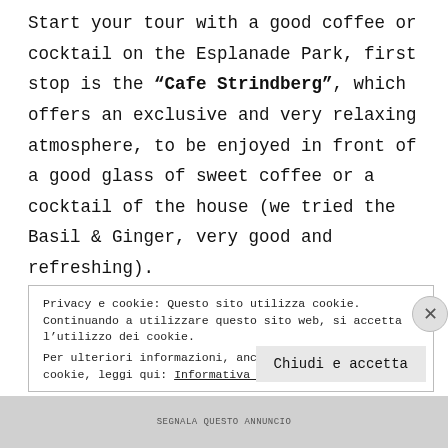Start your tour with a good coffee or cocktail on the Esplanade Park, first stop is the "Cafe Strindberg", which offers an exclusive and very relaxing atmosphere, to be enjoyed in front of a good glass of sweet coffee or a cocktail of the house (we tried the Basil & Ginger, very good and refreshing). If the weather is rainy and cold, Helsinki offers among the largest shopping centers
Privacy e cookie: Questo sito utilizza cookie. Continuando a utilizzare questo sito web, si accetta l’utilizzo dei cookie. Per ulteriori informazioni, anche sul controllo dei cookie, leggi qui: Informativa sui cookie
Chiudi e accetta